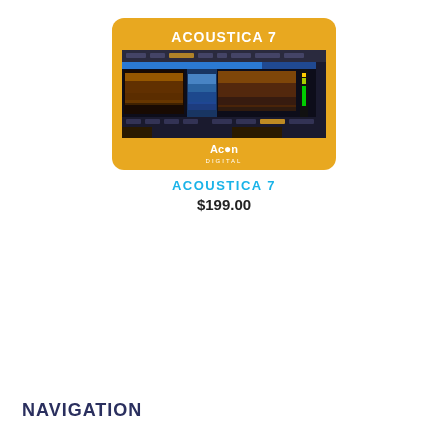[Figure (screenshot): Acoustica 7 product card: golden/amber rounded rectangle containing the title 'ACOUSTICA 7' in white bold text, a screenshot of the audio software UI showing spectral waveforms in dark blue/gold, and the Acon Digital logo at the bottom.]
ACOUSTICA 7
$199.00
NAVIGATION